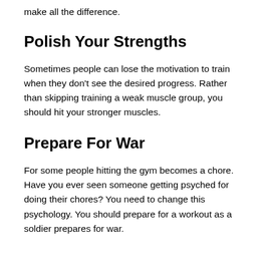make all the difference.
Polish Your Strengths
Sometimes people can lose the motivation to train when they don't see the desired progress. Rather than skipping training a weak muscle group, you should hit your stronger muscles.
Prepare For War
For some people hitting the gym becomes a chore. Have you ever seen someone getting psyched for doing their chores? You need to change this psychology. You should prepare for a workout as a soldier prepares for war.